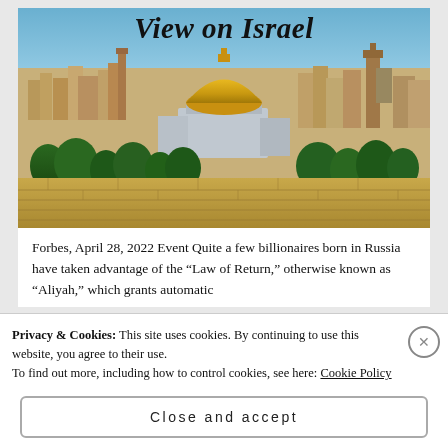[Figure (photo): Aerial cityscape photo of Jerusalem showing the Dome of the Rock with golden dome, surrounded by city buildings under a blue sky, with trees and stone walls in the foreground. Text overlay reads 'View on Israel' in bold italic script.]
Forbes, April 28, 2022 Event Quite a few billionaires born in Russia have taken advantage of the “Law of Return,” otherwise known as “Aliyah,” which grants automatic
Privacy & Cookies: This site uses cookies. By continuing to use this website, you agree to their use.
To find out more, including how to control cookies, see here: Cookie Policy
Close and accept